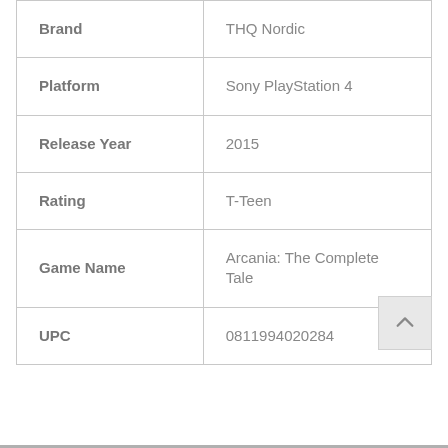| Field | Value |
| --- | --- |
| Brand | THQ Nordic |
| Platform | Sony PlayStation 4 |
| Release Year | 2015 |
| Rating | T-Teen |
| Game Name | Arcania: The Complete Tale |
| UPC | 0811994020284 |